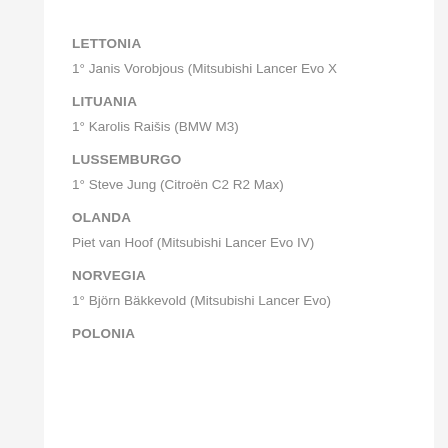LETTONIA
1° Janis Vorobjous (Mitsubishi Lancer Evo X
LITUANIA
1° Karolis Raišis (BMW M3)
LUSSEMBURGO
1° Steve Jung (Citroën C2 R2 Max)
OLANDA
Piet van Hoof (Mitsubishi Lancer Evo IV)
NORVEGIA
1° Björn Bäkkevold (Mitsubishi Lancer Evo)
POLONIA